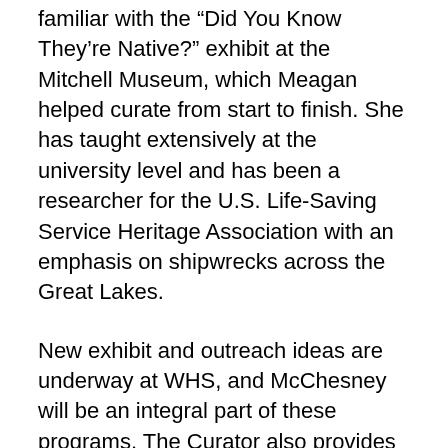familiar with the “Did You Know They’re Native?” exhibit at the Mitchell Museum, which Meagan helped curate from start to finish. She has taught extensively at the university level and has been a researcher for the U.S. Life-Saving Service Heritage Association with an emphasis on shipwrecks across the Great Lakes.
New exhibit and outreach ideas are underway at WHS, and McChesney will be an integral part of these programs. The Curator also provides reference services to patrons who come to 411 Linden Street to research buildings and other local history topics. Her love of history and expertise in historical themes will be an asset to our